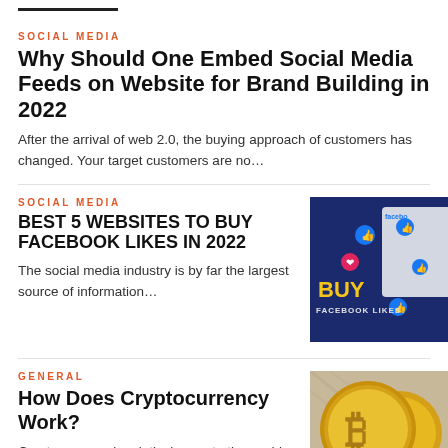SOCIAL MEDIA
Why Should One Embed Social Media Feeds on Website for Brand Building in 2022
After the arrival of web 2.0, the buying approach of customers has changed. Your target customers are no…
SOCIAL MEDIA
BEST 5 WEBSITES TO BUY FACEBOOK LIKES IN 2022
The social media industry is by far the largest source of information…
[Figure (illustration): Dark blue promotional image with social media icons and text 'BUY FACEBOOK LIKES']
GENERAL
How Does Cryptocurrency Work?
Cryptocurrency is relatively new to the world. David Chaum created the first
[Figure (photo): Gold Bitcoin coin close-up photograph]